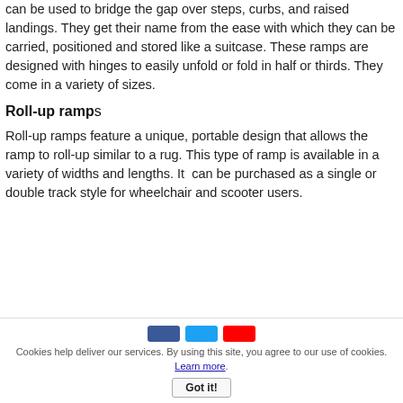can be used to bridge the gap over steps, curbs, and raised landings. They get their name from the ease with which they can be carried, positioned and stored like a suitcase. These ramps are designed with hinges to easily unfold or fold in half or thirds. They come in a variety of sizes.
Roll-up ramps
Roll-up ramps feature a unique, portable design that allows the ramp to roll-up similar to a rug. This type of ramp is available in a variety of widths and lengths. It  can be purchased as a single or double track style for wheelchair and scooter users.
Cookies help deliver our services. By using this site, you agree to our use of cookies. Learn more. Got it!